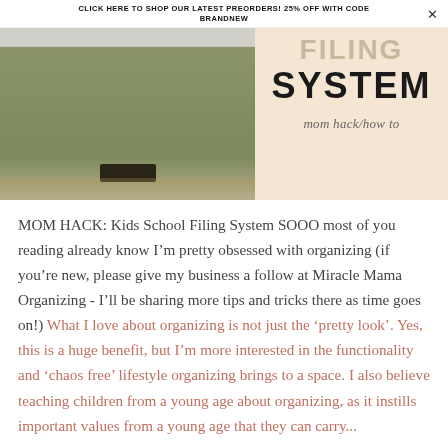CLICK HERE TO SHOP OUR LATEST PREORDERS! 25% OFF WITH CODE BRANDNEW
[Figure (photo): Left: photo of a room with olive/khaki green wall and dark object at bottom. Right: peach/cream background with large bold text reading FILING SYSTEM with cursive subtext 'mom hack/how to']
MOM HACK: Kids School Filing System SOOO most of you reading already know I'm pretty obsessed with organizing (if you're new, please give my business a follow at Miracle Mama Organizing - I'll be sharing more tips and tricks there as time goes on!)  What I love about organizing is not just the ‘pretty look’. Yes, this is a huge benefit, but I'm more interested in the functionality and ‘chaos free’ lifestyle organizing brings to a space. I also believe teaching children from a young age about organizing, as it instills important values from a young age that they can carry...